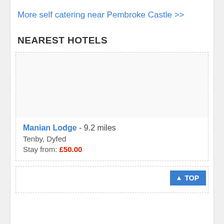More self catering near Pembroke Castle >>
NEAREST HOTELS
[Figure (photo): Placeholder image area for Manian Lodge hotel photo]
Manian Lodge - 9.2 miles
Tenby, Dyfed
Stay from: £50.00
[Figure (photo): Placeholder image area for second hotel listing]